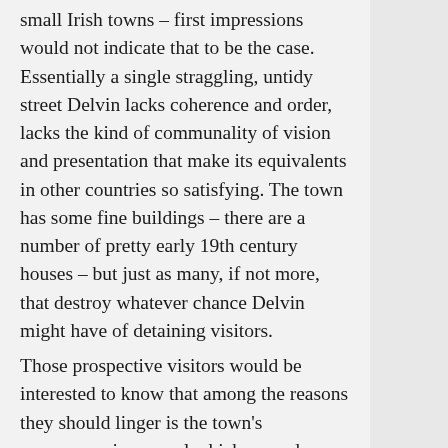small Irish towns – first impressions would not indicate that to be the case. Essentially a single straggling, untidy street Delvin lacks coherence and order, lacks the kind of communality of vision and presentation that make its equivalents in other countries so satisfying. The town has some fine buildings – there are a number of pretty early 19th century houses – but just as many, if not more, that destroy whatever chance Delvin might have of detaining visitors. Those prospective visitors would be interested to know that among the reasons they should linger is the town's appearance in a novel which caused a sensation almost a century ago. Published in 1918, The Valley of the Squinting Windows was written by Brinsley MacNamara (1890-1963), the pseudonym of a local man, John Weldon whose